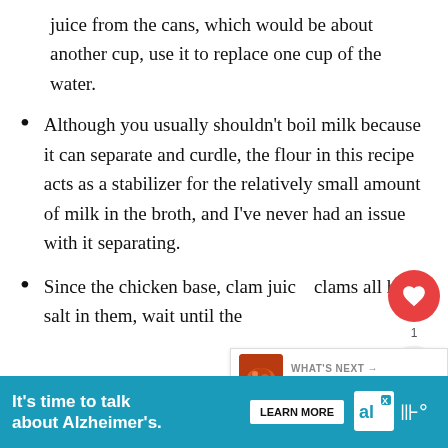juice from the cans, which would be about another cup, use it to replace one cup of the water.
Although you usually shouldn't boil milk because it can separate and curdle, the flour in this recipe acts as a stabilizer for the relatively small amount of milk in the broth, and I've never had an issue with it separating.
Since the chicken base, clam juice, clams all have salt in them, wait until the
[Figure (screenshot): UI overlay with heart/like button showing count 1, and share button]
[Figure (screenshot): What's Next card showing Easy Manhattan... with food image]
[Figure (screenshot): Advertisement banner: It's time to talk about Alzheimer's. with Learn More button and Alzheimer's Association logo]